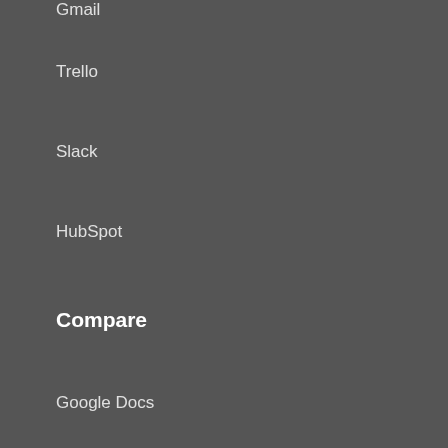Gmail
Trello
Slack
HubSpot
Compare
Google Docs
Evernote
OneNote
Wiki
Solutions
Agencies
Small Business
Sales